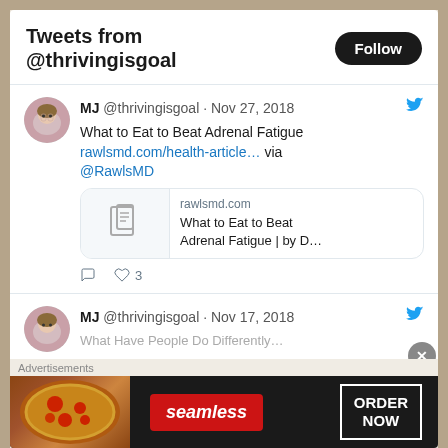Tweets from @thrivingisgoal
MJ @thrivingisgoal · Nov 27, 2018
What to Eat to Beat Adrenal Fatigue
rawlsmd.com/health-article… via @RawlsMD
[Figure (screenshot): Link preview card for rawlsmd.com showing article title 'What to Eat to Beat Adrenal Fatigue | by D...']
♡ 3
MJ @thrivingisgoal · Nov 17, 2018
Advertisements
[Figure (screenshot): Seamless food delivery advertisement banner with pizza image and ORDER NOW button]